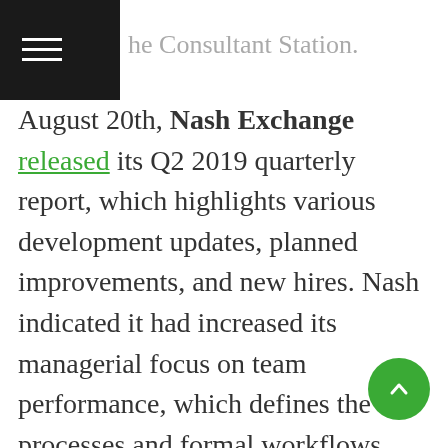...the Consultant Station...
August 20th, Nash Exchange released its Q2 2019 quarterly report, which highlights various development updates, planned improvements, and new hires. Nash indicated it had increased its managerial focus on team performance, which defines the processes and formal workflows necessary for growing the company.
August 20th, Novem announced the opening date of the first Novem Gold store, a delay in the NNN gold token going to market, and an extension to its NVM token pre-sale and public sale timeline.